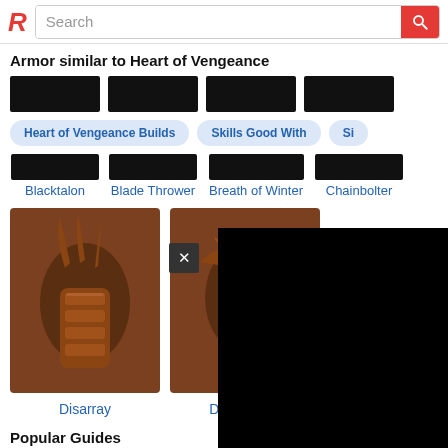R Search
Armor similar to Heart of Vengeance
[Figure (screenshot): Four redacted/blacked-out armor item images in a row]
Heart of Vengeance Builds
Skills Good With
Si...
[Figure (screenshot): Four armor item thumbnails (redacted) labeled Blacktalon, Blade Thrower, Breath of Winter, Chainbolter]
Blacktalon
Blade Thrower
Breath of Winter
Chainbolter
[Figure (screenshot): Armor item image for Disarray - brownish card with claw-like armor piece]
Disarray
[Figure (screenshot): Armor item image for Dreadlands - brownish card with insect-like armor piece, partially covered by black overlay with X close button]
Dreadlands
Popular Guides